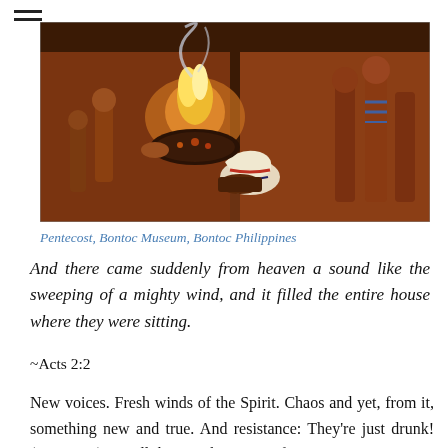[Figure (illustration): A painting depicting Pentecost scene with indigenous Filipino figures gathered around a fire, one person bowing over a vessel, others standing around, in warm earth tones of red, orange, and brown.]
Pentecost, Bontoc Museum, Bontoc Philippines
And there came suddenly from heaven a sound like the sweeping of a mighty wind, and it filled the entire house where they were sitting.
~Acts 2:2
New voices. Fresh winds of the Spirit. Chaos and yet, from it, something new and true. And resistance: They’re just drunk! (Acts 2:12). It’s all there in these eras of